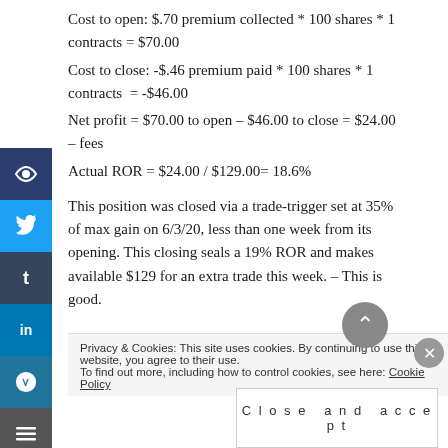Cost to open: $.70 premium collected * 100 shares * 1 contracts = $70.00
Cost to close: -$.46 premium paid * 100 shares * 1 contracts  = -$46.00
Net profit = $70.00 to open – $46.00 to close = $24.00 – fees
Actual ROR = $24.00 / $129.00= 18.6%
This position was closed via a trade-trigger set at 35% of max gain on 6/3/20, less than one week from its opening. This closing seals a 19% ROR and makes available $129 for an extra trade this week. – This is good.
Privacy & Cookies: This site uses cookies. By continuing to use this website, you agree to their use.
To find out more, including how to control cookies, see here: Cookie Policy
Close and accept